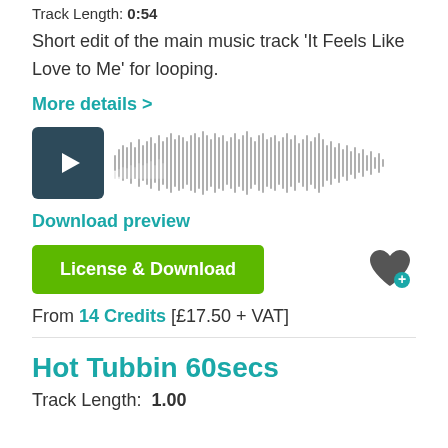Track Length: 0:54
Short edit of the main music track 'It Feels Like Love to Me' for looping.
More details >
[Figure (other): Audio player with play button and waveform visualization]
Download preview
License & Download
From 14 Credits [£17.50 + VAT]
Hot Tubbin 60secs
Track Length: 1.00